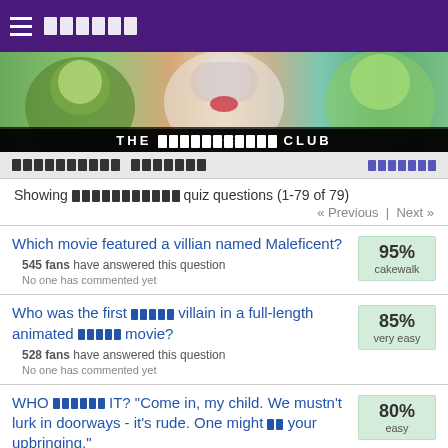≡ [FANPOP]
[Figure (illustration): Banner image showing Disney villains collage including Maleficent and other characters with dark fantasy art style]
THE [VILLAINS] CLUB
[VILLAINS] ANSWERS | [ANSWERS]
Showing [VILLAINS] quiz questions (1-79 of 79)
« Previous | Next »
Which movie featured a villian named Maleficent? | 545 fans have answered this question | No one has commented yet | 95% cakewalk
Who was the first [Disney] villain in a full-length animated [Disney] movie? | 528 fans have answered this question | No one has commented yet | 85% very easy
WHO [SAID] IT? "Come in, my child. We mustn't lurk in doorways - it's rude. One might [say] your upbringing." | 80% easy